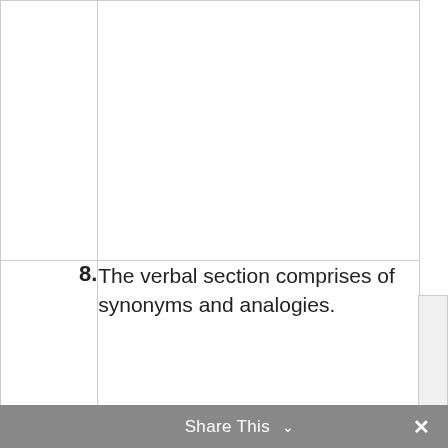|  |  |
| --- | --- |
|  |  |
| 8. | The verbal section comprises of synonyms and analogies. |
Share This ∨  ✕